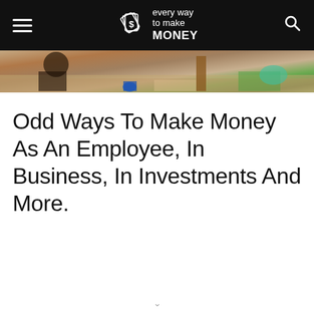every way to make MONEY
[Figure (photo): Outdoor market scene with people, items on ground, wooden post, brick paving, buckets and bags visible]
Odd Ways To Make Money As An Employee, In Business, In Investments And More.